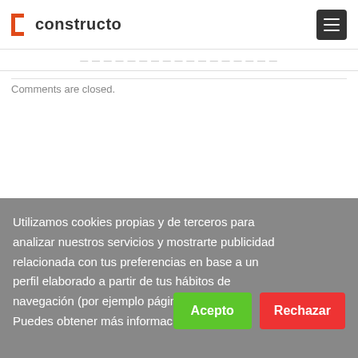constructo
Comments are closed.
Utilizamos cookies propias y de terceros para analizar nuestros servicios y mostrarte publicidad relacionada con tus preferencias en base a un perfil elaborado a partir de tus hábitos de navegación (por ejemplo páginas visitadas). Puedes obtener más información AQUÍ